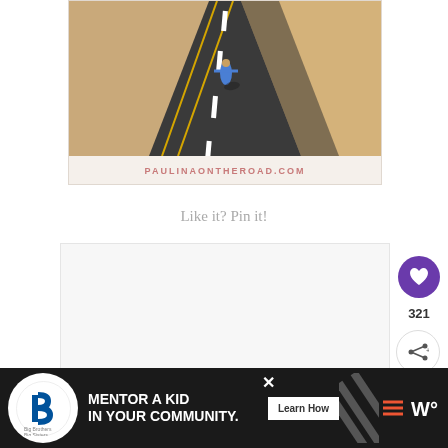[Figure (photo): Aerial view of a person in a blue dress lying on a desert road surrounded by sandy dunes, with yellow dividing lines on the asphalt. Photo from paulinaontheroad.com]
PAULINAONTHEROAD.COM
Like it? Pin it!
[Figure (other): White content card area below the pin prompt, partially visible, with a heart/save button showing 321 saves and a share button on the right side]
321
[Figure (other): Advertisement banner: Big Brothers Big Sisters - MENTOR A KID IN YOUR COMMUNITY. with Learn How button]